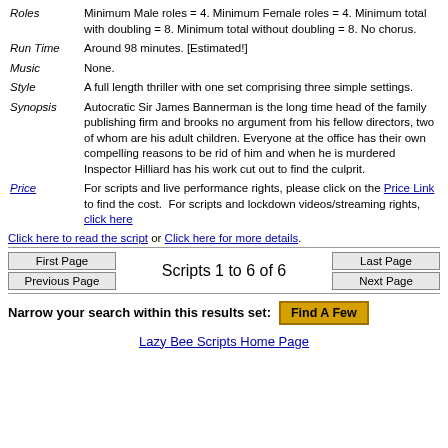| Roles | Minimum Male roles = 4. Minimum Female roles = 4. Minimum total with doubling = 8. Minimum total without doubling = 8. No chorus. |
| Run Time | Around 98 minutes. [Estimated!] |
| Music | None. |
| Style | A full length thriller with one set comprising three simple settings. |
| Synopsis | Autocratic Sir James Bannerman is the long time head of the family publishing firm and brooks no argument from his fellow directors, two of whom are his adult children. Everyone at the office has their own compelling reasons to be rid of him and when he is murdered Inspector Hilliard has his work cut out to find the culprit. |
| Price | For scripts and live performance rights, please click on the Price Link to find the cost.  For scripts and lockdown videos/streaming rights, click here |
Click here to read the script or Click here for more details.
First Page | Previous Page | Scripts 1 to 6 of 6 | Last Page | Next Page
Narrow your search within this results set: Find A Few
Lazy Bee Scripts Home Page